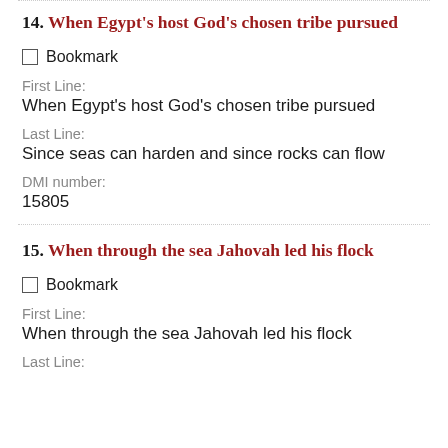14. When Egypt's host God's chosen tribe pursued
Bookmark
First Line:
When Egypt's host God's chosen tribe pursued
Last Line:
Since seas can harden and since rocks can flow
DMI number:
15805
15. When through the sea Jahovah led his flock
Bookmark
First Line:
When through the sea Jahovah led his flock
Last Line: